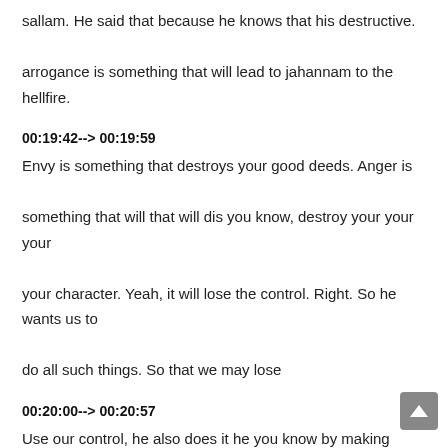sallam. He said that because he knows that his destructive. arrogance is something that will lead to jahannam to the hellfire.
00:19:42--> 00:19:59
Envy is something that destroys your good deeds. Anger is something that will that will dis you know, destroy your your your your character. Yeah, it will lose the control. Right. So he wants us to do all such things. So that we may lose
00:20:00--> 00:20:57
Use our control, he also does it he you know by making constantly attack us, whenever we want to do good. So, a person makes an intention to do that which is good, but he attacks us, he his mission is that you should not do that good. So, when you have a good thought, you know Subhanallah a lot of Bonanza, He rewards you because